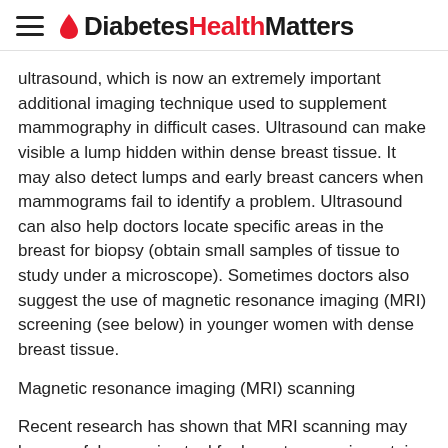DiabetesHealthMatters
ultrasound, which is now an extremely important additional imaging technique used to supplement mammography in difficult cases. Ultrasound can make visible a lump hidden within dense breast tissue. It may also detect lumps and early breast cancers when mammograms fail to identify a problem. Ultrasound can also help doctors locate specific areas in the breast for biopsy (obtain small samples of tissue to study under a microscope). Sometimes doctors also suggest the use of magnetic resonance imaging (MRI) screening (see below) in younger women with dense breast tissue.
Magnetic resonance imaging (MRI) scanning
Recent research has shown that MRI scanning may be a useful screening tool for breast cancer in certain high-risk populations. In 2004, a team of Dutch